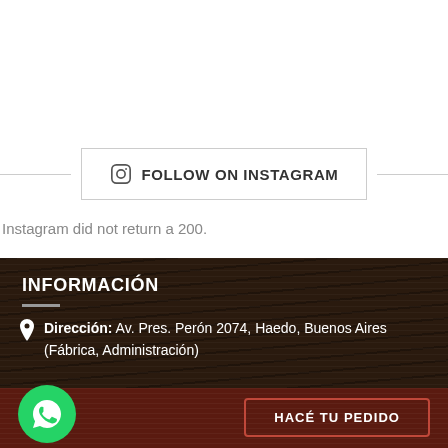[Figure (other): Follow on Instagram button with horizontal divider lines on each side. Contains Instagram icon and bold text 'FOLLOW ON INSTAGRAM'.]
Instagram did not return a 200.
INFORMACIÓN
Dirección: Av. Pres. Perón 2074, Haedo, Buenos Aires (Fábrica, Administración)
[Figure (logo): WhatsApp circular green button with phone handset icon]
HACÉ TU PEDIDO